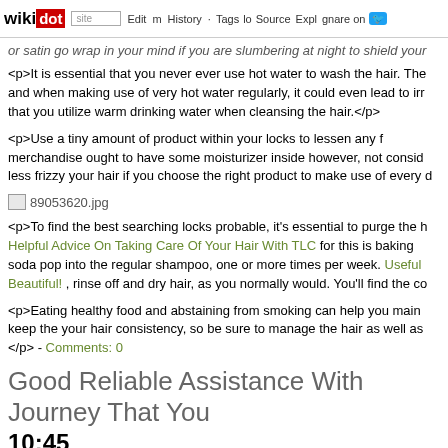wikidot | site | Edit | History | Tags | Source | Explore | Share on
or satin go wrap in your mind if you are slumbering at night to shield your
<p>It is essential that you never ever use hot water to wash the hair. The and when making use of very hot water regularly, it could even lead to irr that you utilize warm drinking water when cleansing the hair.</p>
<p>Use a tiny amount of product within your locks to lessen any f merchandise ought to have some moisturizer inside however, not consid less frizzy your hair if you choose the right product to make use of every d
[Figure (photo): Broken image placeholder labeled 89053620.jpg]
<p>To find the best searching locks probable, it's essential to purge the h Helpful Advice On Taking Care Of Your Hair With TLC for this is baking soda pop into the regular shampoo, one or more times per week. Useful Beautiful! , rinse off and dry hair, as you normally would. You'll find the co
<p>Eating healthy food and abstaining from smoking can help you main keep the your hair consistency, so be sure to manage the hair as well as </p> - Comments: 0
Good Reliable Assistance With Journey That You 10:45
Tags:
<h1>Simple Approaches To Make Your Moves Unique</h1>
<p>Although traveling can be quite a gratifying, enjoyable, practical